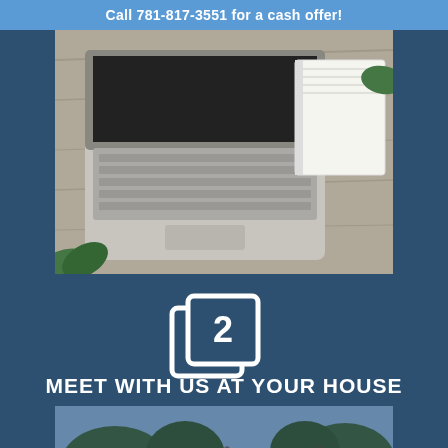Call 781-817-3551 for a cash offer!
[Figure (photo): Top-down view of a laptop computer and a blank notepad on a wooden desk surface]
[Figure (logo): Square icon with rounded corners showing the number 2, with a duplicate offset square behind it forming a layered logo mark, white on dark blue background]
MEET WITH US AT YOUR HOUSE
[Figure (photo): Exterior view of suburban residential houses with gabled roofs, tan siding, and multiple windows against a sky with trees in background]